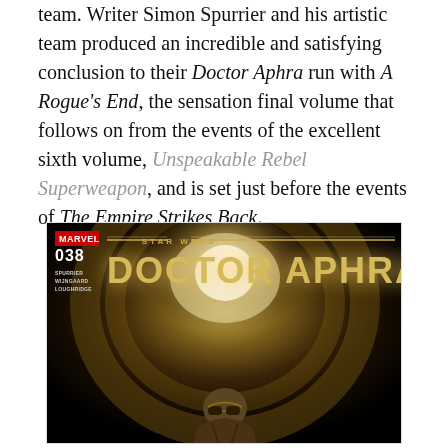team. Writer Simon Spurrier and his artistic team produced an incredible and satisfying conclusion to their Doctor Aphra run with A Rogue's End, the sensation final volume that follows on from the events of the excellent sixth volume, Unspeakable Rebel Superweapon, and is set just before the events of The Empire Strikes Back.
[Figure (photo): Cover of Marvel Star Wars Doctor Aphra issue 038, featuring the title 'DOCTOR APHRA' in large gold letters with 'STAR WARS' banner above, Marvel logo top left, issue number 038, creators Spurrier, Wijngaard, Loughridge listed. Background shows a dark tunnel with light and a figure with goggles at the bottom.]